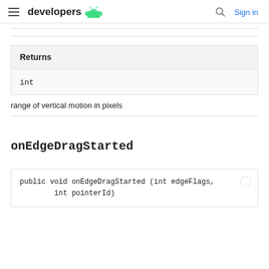developers (android logo) | Sign in
| Returns |
| --- |
| int |
range of vertical motion in pixels
onEdgeDragStarted
public void onEdgeDragStarted (int edgeFlags,
        int pointerId)